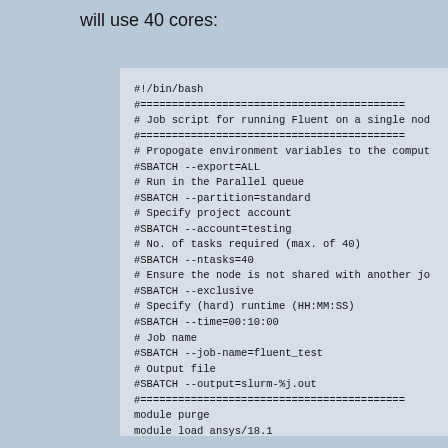will use 40 cores:
#!/bin/bash
#===========================================
# Job script for running Fluent on a single nod
#===========================================
# Propogate environment variables to the comput
#SBATCH --export=ALL
# Run in the Parallel queue
#SBATCH --partition=standard
# Specify project account
#SBATCH --account=testing
# No. of tasks required (max. of 40)
#SBATCH --ntasks=40
# Ensure the node is not shared with another jo
#SBATCH --exclusive
# Specify (hard) runtime (HH:MM:SS)
#SBATCH --time=00:10:00
# Job name
#SBATCH --job-name=fluent_test
# Output file
#SBATCH --output=slurm-%j.out
#===========================================
module purge
module load ansys/18.1